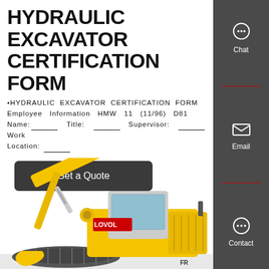HYDRAULIC EXCAVATOR CERTIFICATION FORM
•HYDRAULIC EXCAVATOR CERTIFICATION FORM Employee Information HMW 11 (11/96) D81 Name:_____ Title: _____ Supervisor: _____ Work Location: _____
Get a Quote
[Figure (photo): Yellow LOVOL hydraulic excavator shown from the side, partial view from lower body up]
[Figure (infographic): Dark sidebar with Chat, Email, and Contact icons with dividers between them]